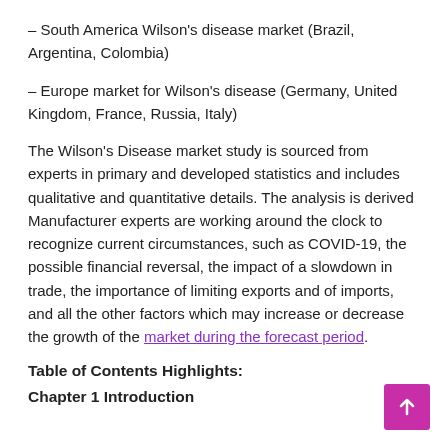– South America Wilson's disease market (Brazil, Argentina, Colombia)
– Europe market for Wilson's disease (Germany, United Kingdom, France, Russia, Italy)
The Wilson's Disease market study is sourced from experts in primary and developed statistics and includes qualitative and quantitative details. The analysis is derived Manufacturer experts are working around the clock to recognize current circumstances, such as COVID-19, the possible financial reversal, the impact of a slowdown in trade, the importance of limiting exports and of imports, and all the other factors which may increase or decrease the growth of the market during the forecast period.
Table of Contents Highlights:
Chapter 1 Introduction